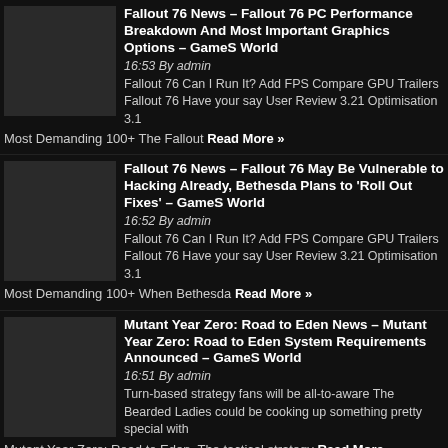Fallout 76 News – Fallout 76 PC Performance Breakdown And Most Important Graphics Options – GameS World
16:53 By admin
Fallout 76 Can I Run It? Add FPS Compare GPU Trailers
Fallout 76 Have your say User Review 3.21 Optimisation 3.1 Most Demanding 100+ The Fallout Read More »
Fallout 76 News – Fallout 76 May Be Vulnerable to Hacking Already, Bethesda Plans to 'Roll Out Fixes' – GameS World
16:52 By admin
Fallout 76 Can I Run It? Add FPS Compare GPU Trailers
Fallout 76 Have your say User Review 3.21 Optimisation 3.1 Most Demanding 100+ When Bethesda Read More »
Mutant Year Zero: Road to Eden News – Mutant Year Zero: Road to Eden System Requirements Announced – GameS World
16:51 By admin
Turn-based strategy fans will be all-to-aware The Bearded Ladies could be cooking up something pretty special with Mutant Year Zero: Road to Eden. The tactical strategy Read More »
Battlefield V News – AMD Radeon 18.11.1 GPU Driver Delivers Up to 9% Higher FPS in BF5, Hitman 2 and Fallout 76 – GameS World